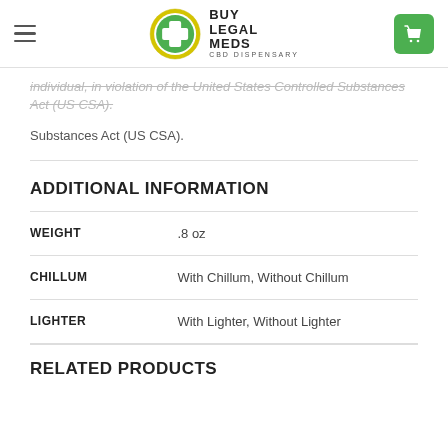Buy Legal Meds CBD Dispensary
individual, in violation of the United States Controlled Substances Act (US CSA).
ADDITIONAL INFORMATION
|  |  |
| --- | --- |
| WEIGHT | .8 oz |
| CHILLUM | With Chillum, Without Chillum |
| LIGHTER | With Lighter, Without Lighter |
RELATED PRODUCTS